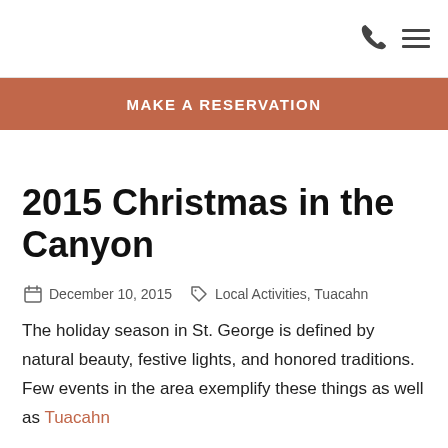[phone icon] [menu icon]
MAKE A RESERVATION
2015 Christmas in the Canyon
December 10, 2015   Local Activities, Tuacahn
The holiday season in St. George is defined by natural beauty, festive lights, and honored traditions. Few events in the area exemplify these things as well as Tuacahn